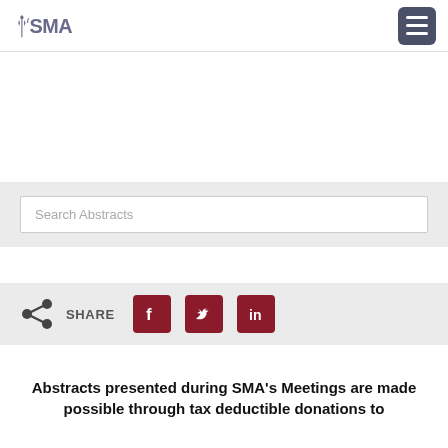ISMA
[Figure (screenshot): Search Abstracts input box on light gray background]
[Figure (infographic): Share section with share icon, SHARE label, and Facebook, Twitter, LinkedIn social icons in dark red]
Abstracts presented during SMA's Meetings are made possible through tax deductible donations to